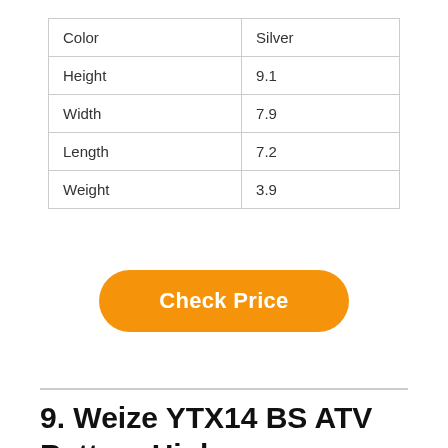| Color | Silver |
| Height | 9.1 |
| Width | 7.9 |
| Length | 7.2 |
| Weight | 3.9 |
Check Price
9. Weize YTX14 BS ATV Battery High Performance –